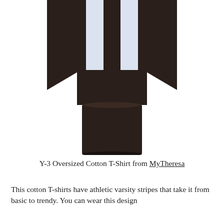[Figure (photo): A dark brown/black oversized long-sleeve T-shirt with two vertical white athletic varsity stripes on the front chest area, displayed flat on a white background.]
Y-3 Oversized Cotton T-Shirt from MyTheresa
This cotton T-shirts have athletic varsity stripes that take it from basic to trendy. You can wear this design